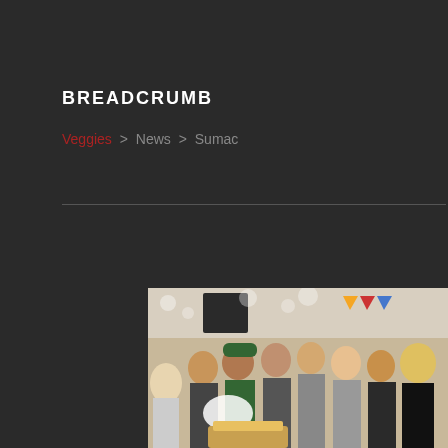BREADCRUMB
Veggies > News > Sumac
[Figure (photo): Group of people gathered together in a room with decorations, celebrating around a cake with candles]